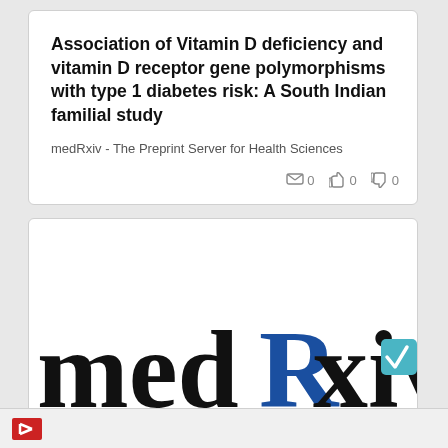Association of Vitamin D deficiency and vitamin D receptor gene polymorphisms with type 1 diabetes risk: A South Indian familial study
medRxiv - The Preprint Server for Health Sciences
[Figure (logo): medRxiv logo showing the text 'medRxiv' in large font with 'R' in blue and a teal/blue square with checkmark at the end]